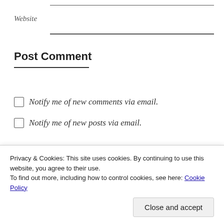Website
Post Comment
Notify me of new comments via email.
Notify me of new posts via email.
Search
Privacy & Cookies: This site uses cookies. By continuing to use this website, you agree to their use.
To find out more, including how to control cookies, see here: Cookie Policy
Close and accept